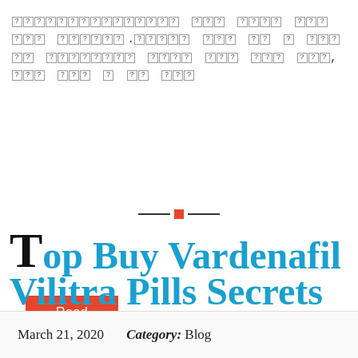[garbled/encoded text - unreadable characters displayed as question mark boxes]
Read More
Top Buy Vardenafil Vilitra Pills Secrets
March 21, 2020    Category: Blog